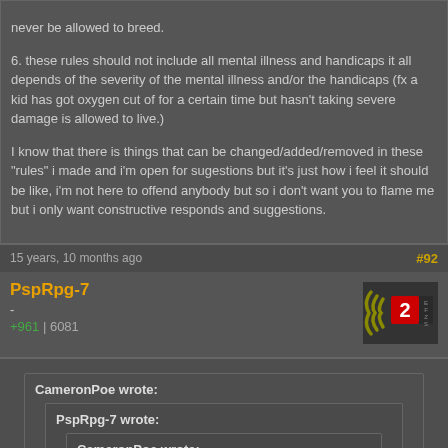never be allowed to breed.
6. these rules should not include all mental illness and handicaps it all depends of the severity of the mental illness and/or the handicaps (fx a kid has got oxygen cut of for a certain time but hasn't taking severe damage is allowed to live.)
I know that there is things that can be changed/added/removed in these "rules" i made and i'm open for sugestions but it's just how i feel it should be like, i'm not here to offend anybody but so i don't want you to flame me but i only want constructive responds and suggestions.
15 years, 10 months ago
#92
PspRpg-7
-
+961 | 6081
[Figure (other): Forum rank badge with number 2 and curved lines]
CameronPoe wrote:
PspRpg-7 wrote:
CameronPoe wrote:
Nobody has to contribute anything to society. Fullstop. What's your point?
What? Are you the grammar partrol? I know I don't have the best grammar, and I'll admit that. So, will you admit to being a